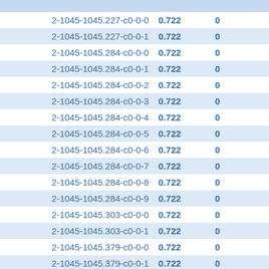| 2-1045-1045.227-c0-0-0 | 0.722 | 0 |
| 2-1045-1045.227-c0-0-1 | 0.722 | 0 |
| 2-1045-1045.284-c0-0-0 | 0.722 | 0 |
| 2-1045-1045.284-c0-0-1 | 0.722 | 0 |
| 2-1045-1045.284-c0-0-2 | 0.722 | 0 |
| 2-1045-1045.284-c0-0-3 | 0.722 | 0 |
| 2-1045-1045.284-c0-0-4 | 0.722 | 0 |
| 2-1045-1045.284-c0-0-5 | 0.722 | 0 |
| 2-1045-1045.284-c0-0-6 | 0.722 | 0 |
| 2-1045-1045.284-c0-0-7 | 0.722 | 0 |
| 2-1045-1045.284-c0-0-8 | 0.722 | 0 |
| 2-1045-1045.284-c0-0-9 | 0.722 | 0 |
| 2-1045-1045.303-c0-0-0 | 0.722 | 0 |
| 2-1045-1045.303-c0-0-1 | 0.722 | 0 |
| 2-1045-1045.379-c0-0-0 | 0.722 | 0 |
| 2-1045-1045.379-c0-0-1 | 0.722 | 0 |
| 2-1045-1045.379-c0-0-2 | 0.722 | 0 |